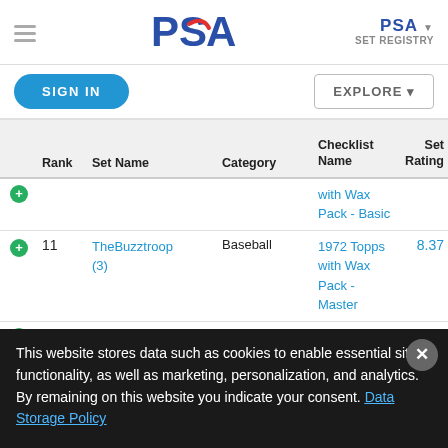PSA SET REGISTRY
SIGN IN
EXPLORE
| Rank | Set Name | Category | Checklist Name | Set Rating |
| --- | --- | --- | --- | --- |
|  |  |  | with Wax Pack - Basic |  |
| 11 | TheBuzztroop (3) | Baseball | 1972 Topps with Wax Pack - Master | 8.37 |
| 6 | TheBuzztroop | Baseball | 1972 Topps | 9.27 |
This website stores data such as cookies to enable essential site functionality, as well as marketing, personalization, and analytics. By remaining on this website you indicate your consent. Data Storage Policy